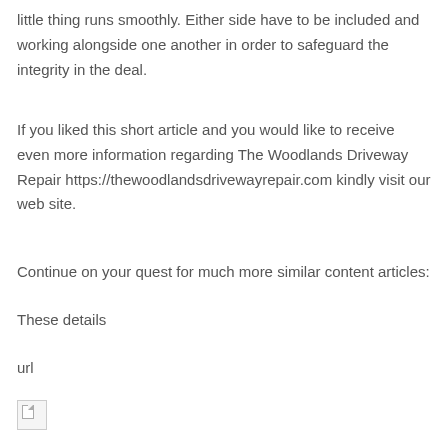little thing runs smoothly. Either side have to be included and working alongside one another in order to safeguard the integrity in the deal.
If you liked this short article and you would like to receive even more information regarding The Woodlands Driveway Repair https://thewoodlandsdrivewayrepair.com kindly visit our web site.
Continue on your quest for much more similar content articles:
These details
url
[Figure (other): Broken/missing image icon]